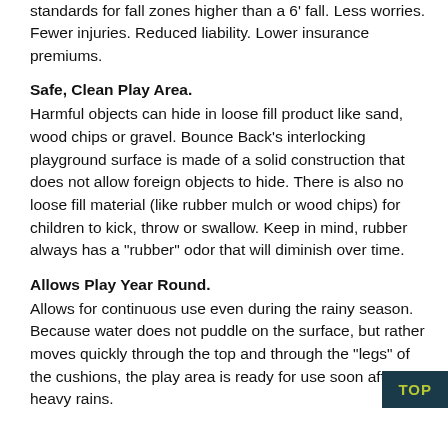standards for fall zones higher than a 6' fall. Less worries. Fewer injuries. Reduced liability. Lower insurance premiums.
Safe, Clean Play Area.
Harmful objects can hide in loose fill product like sand, wood chips or gravel. Bounce Back's interlocking playground surface is made of a solid construction that does not allow foreign objects to hide. There is also no loose fill material (like rubber mulch or wood chips) for children to kick, throw or swallow. Keep in mind, rubber always has a "rubber" odor that will diminish over time.
Allows Play Year Round.
Allows for continuous use even during the rainy season. Because water does not puddle on the surface, but rather moves quickly through the top and through the "legs" of the cushions, the play area is ready for use soon after heavy rains.